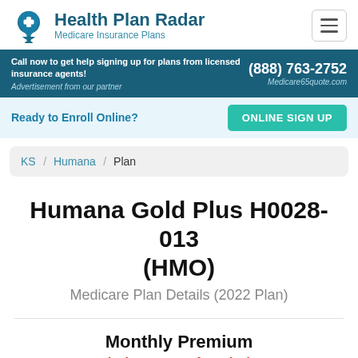Health Plan Radar — Medicare Insurance Plans
Call now to get help signing up for plans from licensed insurance agents! Advertisement from our partner | (888) 763-2752 | Medicare65quote.com
Ready to Enroll Online? ONLINE SIGN UP
KS / Humana / Plan
Humana Gold Plus H0028-013 (HMO)
Medicare Plan Details (2022 Plan)
Monthly Premium
(select county for price)